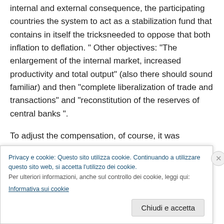internal and external consequence, the participating countries the system to act as a stabilization fund that contains in itself the tricksneeded to oppose that both inflation to deflation. " Other objectives: "The enlargement of the internal market, increased productivity and total output" (also there should sound familiar) and then "complete liberalization of trade and transactions" and "reconstitution of the reserves of central banks ".
To adjust the compensation, of course, it was necessary that there was a fixed parity between national currencies and the international unit of account, which was set in
[Figure (screenshot): Cookie consent banner in Italian. Text: 'Privacy e cookie: Questo sito utilizza cookie. Continuando a utilizzare questo sito web, si accetta l'utilizzo dei cookie. Per ulteriori informazioni, anche sul controllo dei cookie, leggi qui: Informativa sui cookie'. Button: 'Chiudi e accetta'.]